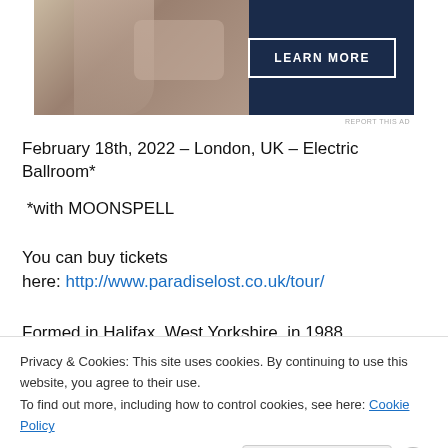[Figure (photo): Advertisement banner with dark navy background showing a person's hands and a 'LEARN MORE' button with white border.]
February 18th, 2022 – London, UK – Electric Ballroom*
*with MOONSPELL
You can buy tickets here: http://www.paradiselost.co.uk/tour/
Formed in Halifax. West Yorkshire. in 1988. PARADISE
Privacy & Cookies: This site uses cookies. By continuing to use this website, you agree to their use. To find out more, including how to control cookies, see here: Cookie Policy
Close and accept